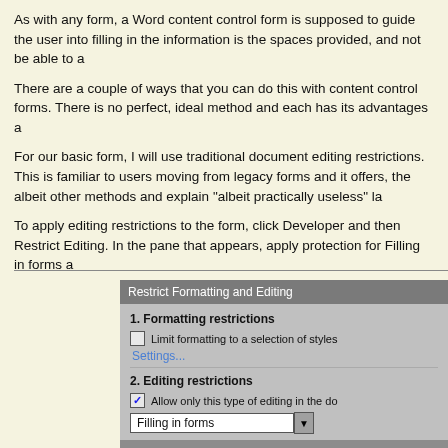As with any form, a Word content control form is supposed to guide the user into filling in the information is the spaces provided, and not be able to a
There are a couple of ways that you can do this with content control forms. There is no perfect, ideal method and each has its advantages a
For our basic form, I will use traditional document editing restrictions. This is familiar to users moving from legacy forms and it offers, the albeit other methods and explain "albeit practically useless" la
To apply editing restrictions to the form, click Developer and then Restrict Editing. In the pane that appears, apply protection for Filling in forms a
[Figure (screenshot): Screenshot of Microsoft Word 'Restrict Formatting and Editing' task pane showing: 1. Formatting restrictions section with unchecked checkbox 'Limit formatting to a selection of styles' and a 'Settings...' link; 2. Editing restrictions section with checked checkbox 'Allow only this type of editing in the doc' and a dropdown set to 'Filling in forms']